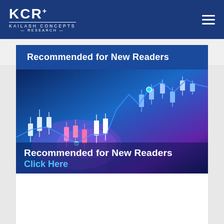KCR KAILASH CONCEPTS RESEARCH
Recommended for New Readers
[Figure (illustration): Stylized candlestick trading chart with blue, white, pink and purple color scheme showing price action movements on a dark blue gradient background.]
Recommended for New Readers
Click Here